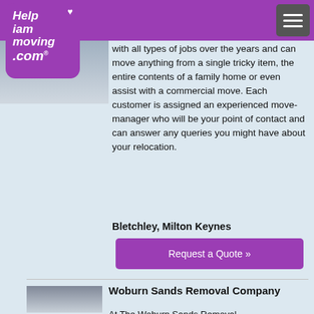Help iam moving .com
with all types of jobs over the years and can move anything from a single tricky item, the entire contents of a family home or even assist with a commercial move. Each customer is assigned an experienced move-manager who will be your point of contact and can answer any queries you might have about your relocation.
Bletchley, Milton Keynes
Request a Quote »
Woburn Sands Removal Company
At The Woburn Sands Removal